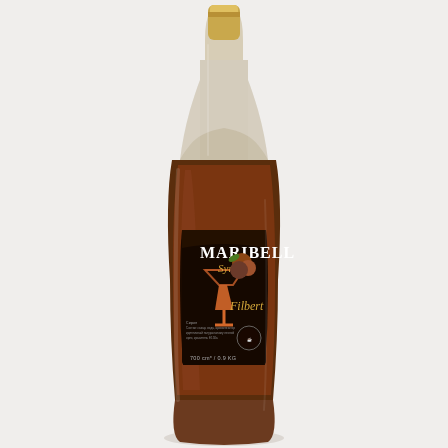[Figure (photo): A tall glass bottle of Maribell Syrup Filbert (hazelnut) flavor. The bottle contains dark brown syrup and features a dark label with the brand name 'MARIBELL' in large white letters, 'Syrup' in gold script, and 'Filbert' in gold italic text. The label shows a martini glass illustration and hazelnuts. The bottle has a gold/beige cap. Text on the label includes ingredient and nutritional information. The bottom of the label reads '700 cm³ / 0.9 KG'. The bottle is photographed against a white/light gray background.]